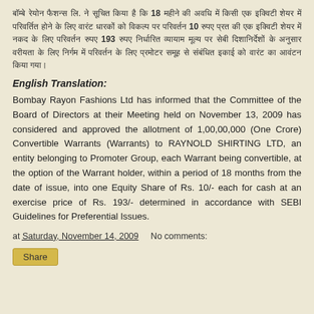Hindi text describing Bombay Rayon Fashions Ltd allotment of warrants at 18 months period, Rs. 10/- equity share, Rs. 193/- exercise price, SEBI Guidelines for Preferential Issues.
English Translation:
Bombay Rayon Fashions Ltd has informed that the Committee of the Board of Directors at their Meeting held on November 13, 2009 has considered and approved the allotment of 1,00,00,000 (One Crore) Convertible Warrants (Warrants) to RAYNOLD SHIRTING LTD, an entity belonging to Promoter Group, each Warrant being convertible, at the option of the Warrant holder, within a period of 18 months from the date of issue, into one Equity Share of Rs. 10/- each for cash at an exercise price of Rs. 193/- determined in accordance with SEBI Guidelines for Preferential Issues.
at Saturday, November 14, 2009    No comments:
Share